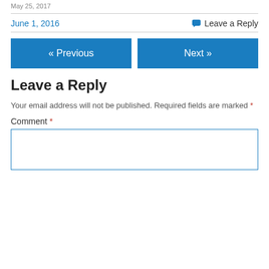May 25, 2017
June 1, 2016   💬 Leave a Reply
« Previous   Next »
Leave a Reply
Your email address will not be published. Required fields are marked *
Comment *